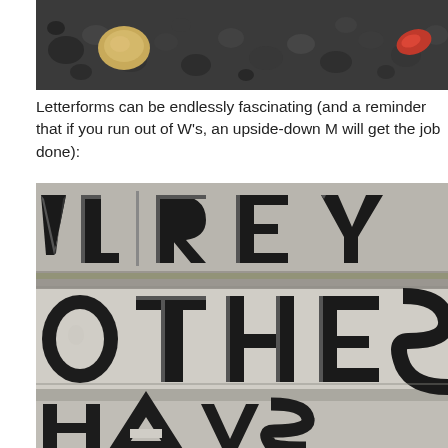[Figure (photo): Close-up photo of dark gravel/rocks with a yellow-tan rock and a red leaf visible, cropped at the top]
Letterforms can be endlessly fascinating (and a reminder that if you run out of W's, an upside-down M will get the job done):
[Figure (photo): Close-up photo of a vintage cast-iron or stone sign with large raised beveled black letters reading partial text: 'VLREY', 'OTHES', 'HAWS' - showing letterforms with dimensional beveled edges on a concrete/stone background]